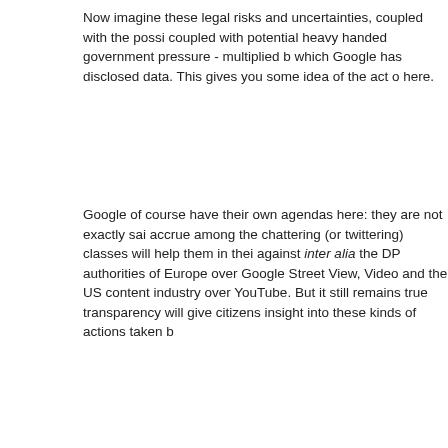Now imagine these legal risks and uncertainties, coupled with the possi coupled with potential heavy handed government pressure - multiplied b which Google has disclosed data. This gives you some idea of the act o here.
Google of course have their own agendas here: they are not exactly sai accrue among the chattering (or twittering) classes will help them in thei against inter alia the DP authorities of Europe over Google Street View, Video and the US content industry over YouTube. But it still remains true transparency will give citizens insight into these kinds of actions taken b
Criticisms
The legal risks I talk about above also partly explain some of the failings which have been cogently pointed out already by Chris Soghoian. Notab enough, something Google themselves have acknowledged. We have n made (ie information about Google users) , for takedown requests, and (Blogger, YouTube etc). We have some idea that Google sometimes rec disclosing or blocking, and sometimes didn't, but we do not know how of to the latter - only that it is claimed such requests were granted only whe policies were breached eg on Blogger.
Crucially we do not know, for the UK say, if these requests were made u Communications Act s 127 or more generic policing & investigation pow related to terror material or pro islamic websites, and how many to